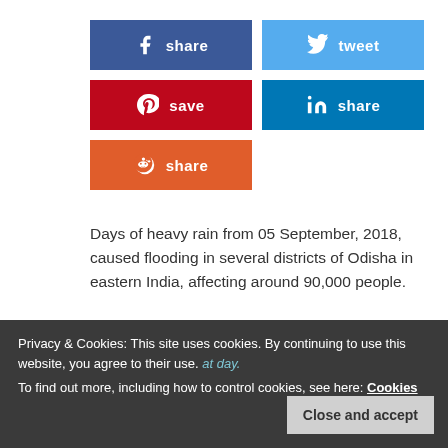[Figure (infographic): Social media share buttons: Facebook share (dark blue), Twitter tweet (light blue), Pinterest save (red), LinkedIn share (teal blue), Reddit share (orange)]
Days of heavy rain from 05 September, 2018, caused flooding in several districts of Odisha in eastern India, affecting around 90,000 people.
Special Relief Commissioner, Odisha said that at least 41 locations recorded more than 100 mm of rain in 24 hours to 06 September, 2018, with a high of 35 ... at day.
The heavy rain caused the Baitarani river to overflow in several locations. On 06 September the river stood at 18.47
Privacy & Cookies: This site uses cookies. By continuing to use this website, you agree to their use.
To find out more, including how to control cookies, see here: Cookies